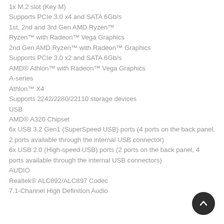1x M.2 slot (Key M)
Supports PCIe 3.0 x4 and SATA 6Gb/s
1st, 2nd and 3rd Gen AMD Ryzen™
Ryzen™ with Radeon™ Vega Graphics
2nd Gen AMD Ryzen™ with Radeon™ Graphics
Supports PCIe 3.0 x2 and SATA 6Gb/s
AMD® Athlon™ with Radeon™ Vega Graphics
A-series
Athlon™ X4
Supports 2242/2280/22110 storage devices
USB
AMD® A320 Chipset
6x USB 3.2 Gen1 (SuperSpeed USB) ports (4 ports on the back panel, 2 ports available through the internal USB connector)
6x USB 2.0 (High-speed USB) ports (2 ports on the back panel, 4 ports available through the internal USB connectors)
AUDIO
Realtek® ALC892/ALC897 Codec
7.1-Channel High Definition Audio